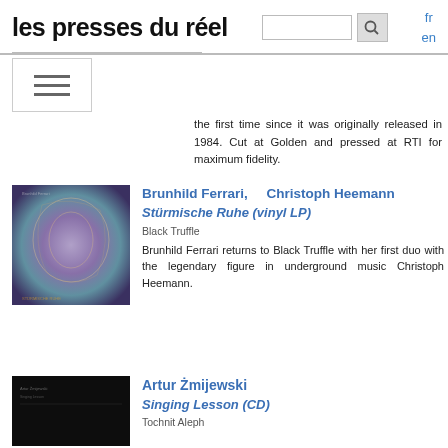les presses du réel
the first time since it was originally released in 1984. Cut at Golden and pressed at RTI for maximum fidelity.
[Figure (photo): Album cover for Stürmische Ruhe by Brunhild Ferrari and Christoph Heemann - abstract colorful artwork]
Brunhild Ferrari, Christoph Heemann
Stürmische Ruhe (vinyl LP)
Black Truffle
Brunhild Ferrari returns to Black Truffle with her first duo with the legendary figure in underground music Christoph Heemann.
[Figure (photo): Album/book cover for Singing Lesson by Artur Żmijewski - dark/black cover with small text]
Artur Żmijewski
Singing Lesson (CD)
Tochnit Aleph